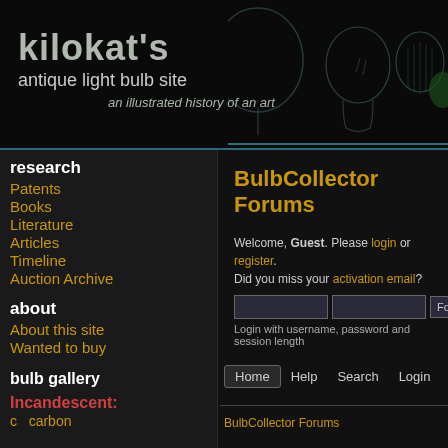[Figure (screenshot): Website header banner for kilokat's antique light bulb site with dark background and decorative vintage light bulb illustrations]
kilokat's antique light bulb site — an illustrated history of an art
research
Patents
Books
Literature
Articles
Timeline
Auction Archive
about
About this site
Wanted to buy
bulb gallery
Incandescent:
c   carbon
BulbCollector Forums
Welcome, Guest. Please login or register. Did you miss your activation email?
Login with username, password and session length
Home  Help  Search  Login  Register
BulbCollector Forums